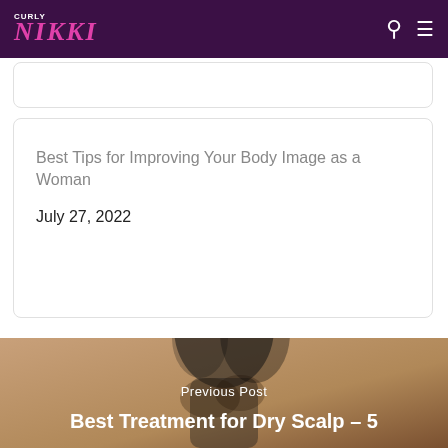CURLY NIKKI
Best Tips for Improving Your Body Image as a Woman
July 27, 2022
[Figure (photo): Partial bottom photo of a Black woman with curly hair against a tan/brown background, with 'Previous Post' label and title 'Best Treatment for Dry Scalp – 5' overlaid in white text]